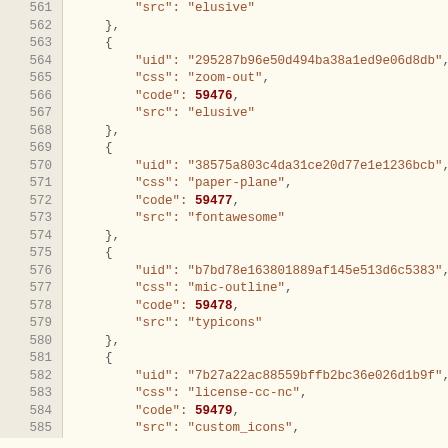561    "src": "elusive"
562    },
563    {
564        "uid": "295287b96e50d494ba38a1ed9e06d8db",
565        "css": "zoom-out",
566        "code": 59476,
567        "src": "elusive"
568    },
569    {
570        "uid": "38575a803c4da31ce20d77e1e1236bcb",
571        "css": "paper-plane",
572        "code": 59477,
573        "src": "fontawesome"
574    },
575    {
576        "uid": "b7bd78e163801889af145e513d6c5383",
577        "css": "mic-outline",
578        "code": 59478,
579        "src": "typicons"
580    },
581    {
582        "uid": "7b27a22ac88559bffb2bc36e026d1b9f",
583        "css": "license-cc-nc",
584        "code": 59479,
585        "src": "custom_icons",